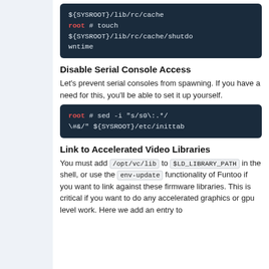[Figure (screenshot): Dark terminal code block showing: ${SYSROOT}/lib/rc/cache  root # touch ${SYSROOT}/lib/rc/cache/shutdowntime]
Disable Serial Console Access
Let's prevent serial consoles from spawning. If you have a need for this, you'll be able to set it up yourself.
[Figure (screenshot): Dark terminal code block showing: root # sed -i "s/s0\:.*/\#&/" ${SYSROOT}/etc/inittab]
Link to Accelerated Video Libraries
You must add /opt/vc/lib to $LD_LIBRARY_PATH in the shell, or use the env-update functionality of Funtoo if you want to link against these firmware libraries. This is critical if you want to do any accelerated graphics or gpu level work. Here we add an entry to